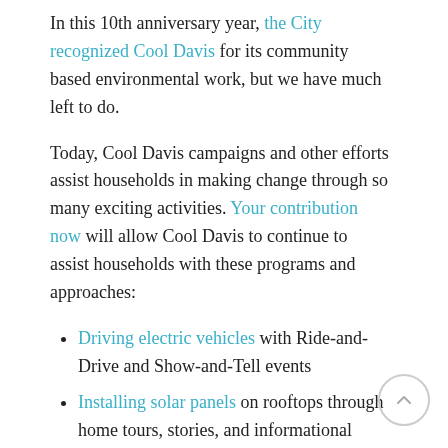In this 10th anniversary year, the City recognized Cool Davis for its community based environmental work, but we have much left to do.
Today, Cool Davis campaigns and other efforts assist households in making change through so many exciting activities. Your contribution now will allow Cool Davis to continue to assist households with these programs and approaches:
Driving electric vehicles with Ride-and-Drive and Show-and-Tell events
Installing solar panels on rooftops through home tours, stories, and informational articles